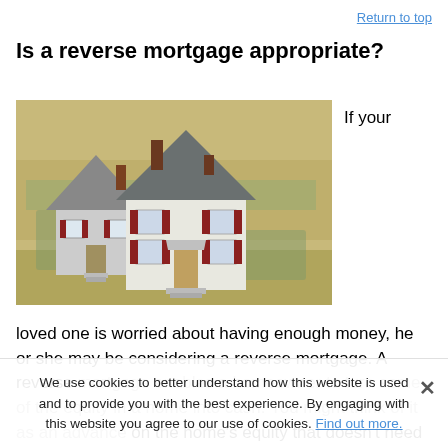Return to top
Is a reverse mortgage appropriate?
[Figure (photo): Miniature house models placed on top of US dollar bills, representing real estate and home equity.]
If your loved one is worried about having enough money, he or she may be considering a reverse mortgage. A reverse mortgage enables a homeowner to turn some of the equity in a home into cash. You might think of it as an advance on the home's equity that doesn't need to be repaid until the homeowner moves out or passes away.
We use cookies to better understand how this website is used and to provide you with the best experience. By engaging with this website you agree to our use of cookies. Find out more.